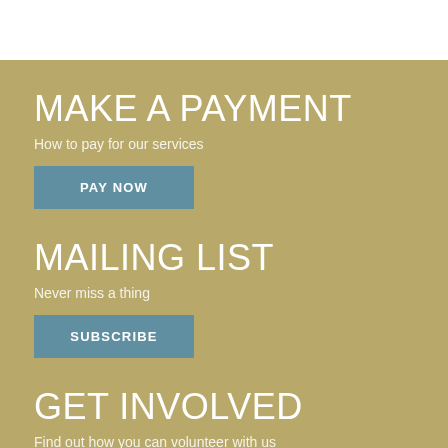MAKE A PAYMENT
How to pay for our services
PAY NOW
MAILING LIST
Never miss a thing
SUBSCRIBE
GET INVOLVED
Find out how you can volunteer with us
VOLUNTEER AT THE BRO